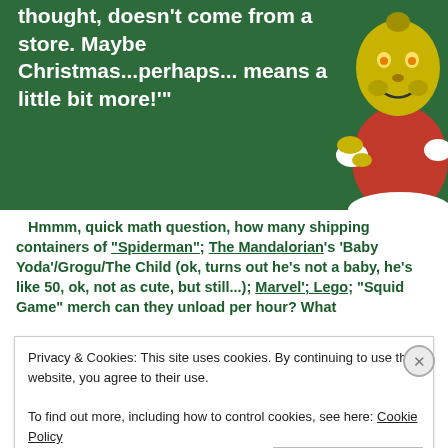[Figure (illustration): Grinch illustration on dark green background with white handwritten-style text quote: 'thought, doesn't come from a store. Maybe Christmas...perhaps... means a little bit more!' The Grinch character (yellow/green with red suit) is visible on the right side.]
Hmmm, quick math question, how many shipping containers of "Spiderman"; The Mandalorian's 'Baby Yoda'/Grogu/The Child (ok, turns out he's not a baby, he's like 50, ok, not as cute, but still...); Marvel'; Lego; "Squid Game" merch can they unload per hour? What
Privacy & Cookies: This site uses cookies. By continuing to use this website, you agree to their use.
To find out more, including how to control cookies, see here: Cookie Policy